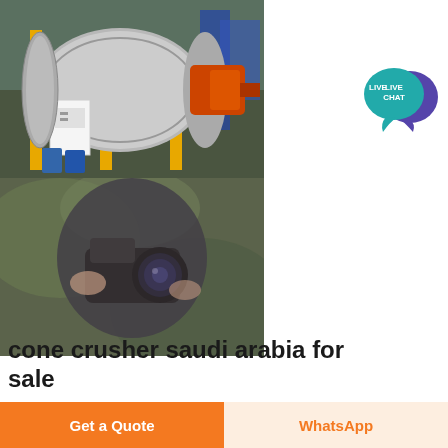[Figure (photo): Industrial ball mill machine with orange/red motor components, yellow support structure, in an industrial setting]
[Figure (photo): Blurred close-up photo of a person holding a camera or video equipment]
[Figure (illustration): Live Chat bubble badge icon in teal/blue-purple colors]
cone crusher saudi arabia for sale
Get a Quote
WhatsApp